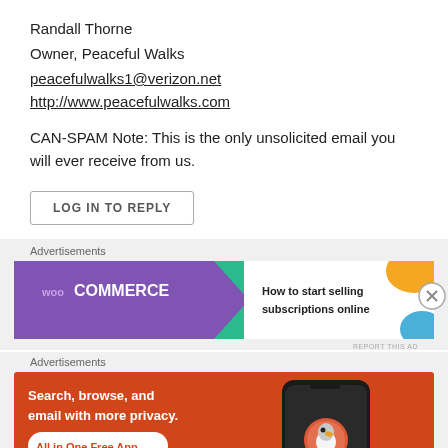Randall Thorne
Owner, Peaceful Walks
peacefulwalks1@verizon.net
http://www.peacefulwalks.com
CAN-SPAM Note: This is the only unsolicited email you will ever receive from us.
LOG IN TO REPLY
Advertisements
[Figure (illustration): WooCommerce advertisement banner: purple background with WooCommerce logo, teal arrow, white section with text 'How to start selling subscriptions online' and orange/blue decorative blobs]
Advertisements
[Figure (illustration): DuckDuckGo advertisement banner: orange/red background with text 'Search, browse, and email with more privacy. All in One Free App' and a phone mockup showing the DuckDuckGo logo]